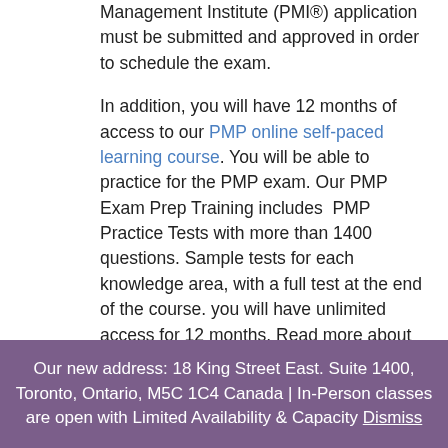Management Institute (PMI®) application must be submitted and approved in order to schedule the exam.
In addition, you will have 12 months of access to our PMP online self-paced learning course. You will be able to practice for the PMP exam. Our PMP Exam Prep Training includes  PMP Practice Tests with more than 1400 questions. Sample tests for each knowledge area, with a full test at the end of the course. you will have unlimited access for 12 months. Read more about the  PMP Practice Tests and Questions
Our new address: 18 King Street East. Suite 1400, Toronto, Ontario, M5C 1C4 Canada | In-Person classes are open with Limited Availability & Capacity Dismiss